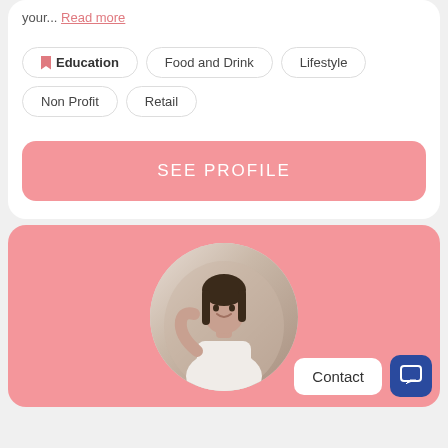your... Read more
Education
Food and Drink
Lifestyle
Non Profit
Retail
SEE PROFILE
[Figure (photo): Circular profile photo of a smiling woman with dark hair, wearing a white top, against a light background, on a pink card.]
Contact